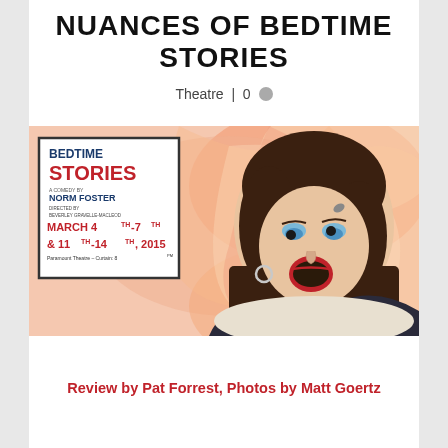NUANCES OF BEDTIME STORIES
Theatre | 0
[Figure (photo): Promotional photo for Bedtime Stories play: woman with surprised expression on right side, and a poster on the left showing 'BEDTIME STORIES - A Comedy by Norm Foster, Directed by Beverley Gravelle-MacLeod, March 4th-7th & 11th-14th, 2015, Paramount Theatre']
Review by Pat Forrest, Photos by Matt Goertz